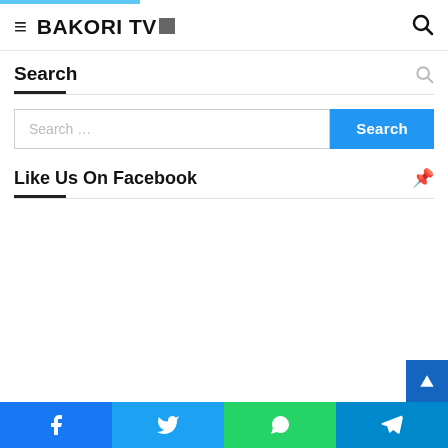BAKORI TV
Search
Search …
Like Us On Facebook